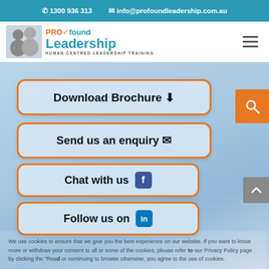1300 936 313  info@profoundleadership.com.au
[Figure (logo): Profound Leadership logo with two people and text 'PROfound Leadership - Human-Centred Leadership Training']
Download Brochure
Send us an enquiry
We use cookies to ensure that we give you the best experience on our website. If you want to know more or withdraw your consent to all or some of the cookies, please refer to our Privacy Policy page by clicking the "Read" or continuing to browse otherwise, you agree to the use of cookies.
Chat with us
Follow us on